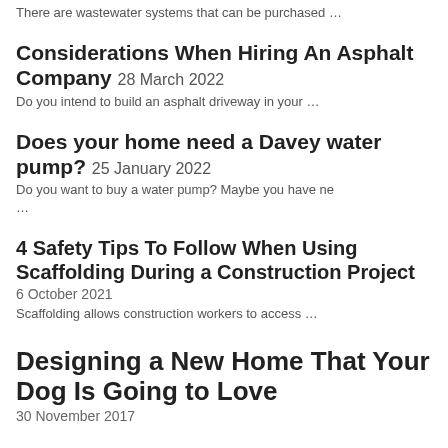There are wastewater systems that can be purchased …
Considerations When Hiring An Asphalt Company 28 March 2022
Do you intend to build an asphalt driveway in your …
Does your home need a Davey water pump? 25 January 2022
Do you want to buy a water pump? Maybe you have ne …
4 Safety Tips To Follow When Using Scaffolding During a Construction Project
6 October 2021
Scaffolding allows construction workers to access …
Designing a New Home That Your Dog Is Going to Love
30 November 2017